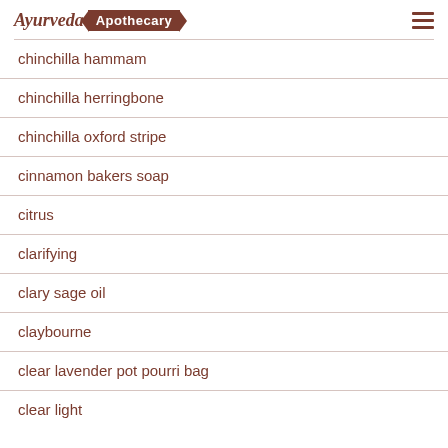Ayurveda Apothecary
chinchilla hammam
chinchilla herringbone
chinchilla oxford stripe
cinnamon bakers soap
citrus
clarifying
clary sage oil
claybourne
clear lavender pot pourri bag
clear light